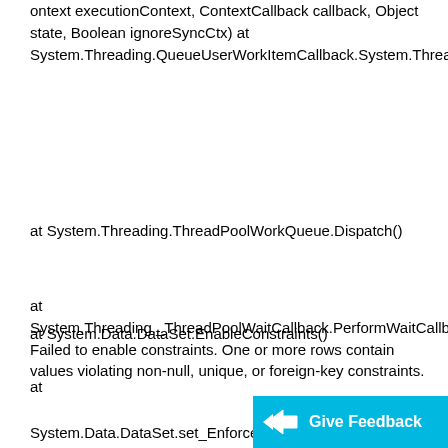ontext executionContext, ContextCallback callback, Object state, Boolean ignoreSyncCtx) at System.Threading.QueueUserWorkItemCallback.System.Threading.IThreadPoolWorkItem.ExecuteWorkItem()
at System.Threading.ThreadPoolWorkQueue.Dispatch()
at System.Threading._ThreadPoolWaitCallback.PerformWaitCallback()System.Data.ConstraintException: Failed to enable constraints. One or more rows contain values violating non-null, unique, or foreign-key constraints.
at System.Data.DataSet.EnableConstraints()
at
System.Data.DataSet.set_EnforceC...
[Figure (infographic): Give Feedback button with cyan background and arrow icon]